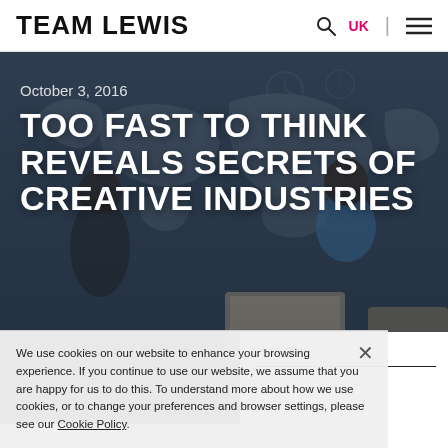Team Lewis
[Figure (photo): A group of young professionals working around a table with laptops and tablets, in front of a dark wall with a world map and clocks, representing a creative/communications agency workspace.]
October 3, 2016
TOO FAST TO THINK REVEALS SECRETS OF CREATIVE INDUSTRIES
We use cookies on our website to enhance your browsing experience. If you continue to use our website, we assume that you are happy for us to do this. To understand more about how we use cookies, or to change your preferences and browser settings, please see our Cookie Policy.
USTRIES